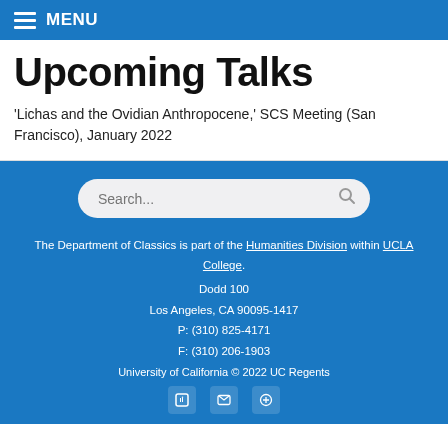MENU
Upcoming Talks
'Lichas and the Ovidian Anthropocene,' SCS Meeting (San Francisco), January 2022
The Department of Classics is part of the Humanities Division within UCLA College.
Dodd 100
Los Angeles, CA 90095-1417
P: (310) 825-4171
F: (310) 206-1903
University of California © 2022 UC Regents